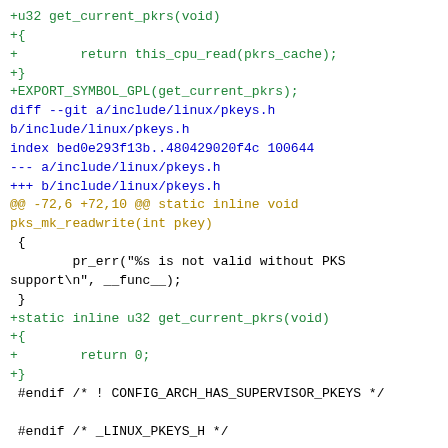+u32 get_current_pkrs(void)
+{
+        return this_cpu_read(pkrs_cache);
+}
+EXPORT_SYMBOL_GPL(get_current_pkrs);
diff --git a/include/linux/pkeys.h b/include/linux/pkeys.h
index bed0e293f13b..480429020f4c 100644
--- a/include/linux/pkeys.h
+++ b/include/linux/pkeys.h
@@ -72,6 +72,10 @@ static inline void pks_mk_readwrite(int pkey)
 {
         pr_err("%s is not valid without PKS support\n", __func__);
 }
+static inline u32 get_current_pkrs(void)
+{
+        return 0;
+}
 #endif /* ! CONFIG_ARCH_HAS_SUPERVISOR_PKEYS */

 #endif /* _LINUX_PKEYS_H */
--
2.17.1
^ permalink raw reply  [flat|nested] 19+ messages in thread